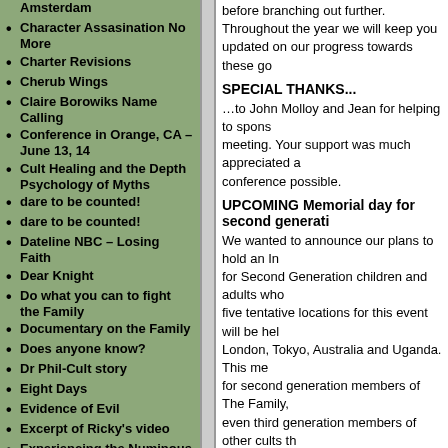Amsterdam
Character Assasination No More
Charter Revisions
Cherub Wings
Claire Borowiks Name Calling
Conference in Orange, CA – June 13, 14
Cult Healing and the Depth Psychology of Myths
dare to be counted!
dare to be counted!
Dateline NBC – Losing Faith
Dear Knight
Do what you can to fight the Family
Documentary on the Family
Does anyone know?
Dr Phil-Cult story
Eight Days
Evidence of Evil
Excerpt of Ricky's video
Experiencing the Numinous as a Cult Survivor
Exposing the
before branching out further. Throughout the year we will keep you updated on our progress towards these goals.
SPECIAL THANKS...
…to John Molloy and Jean for helping to sponsor the meeting. Your support was much appreciated and made the conference possible.
UPCOMING Memorial day for second generation
We wanted to announce our plans to hold an International Memorial for Second Generation children and adults who have died. The five tentative locations for this event will be held are New York, London, Tokyo, Australia and Uganda. This memorial will be open for second generation members of The Family, as well as children or even third generation members of other cults that have lost their brothers or sisters or close friends through suicide, sexual abuse, abuse and medical neglect, drug overdose and war crimes by cults such as the LRA in Northern Uganda. We would like to know if you would like to participate or help to organize this event please email at contact@riseinternationalcic.org, and we will send you details of the exact day (probably in August 2008).
CONFERENCES IN 2008
As part of raising awareness and the profile of cult related challenges, RISE will be attending the following conferences this year:
* Prevent Child Abuse: May 19-22, 2008
http://www.preventchildabuse.org/events/